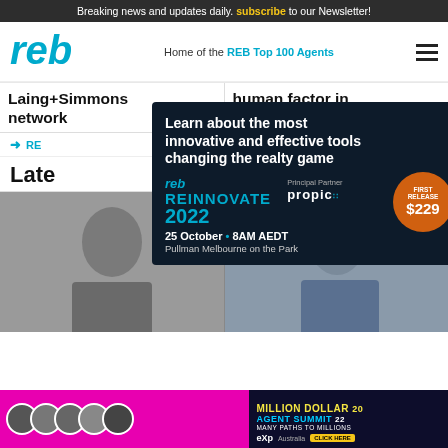Breaking news and updates daily. subscribe to our Newsletter!
[Figure (logo): reb logo - red italic reb letters]
Home of the REB Top 100 Agents
Laing+Simmons network
human factor in transactions
REB
Late
[Figure (infographic): REB Reinnovate 2022 advertisement overlay on dark background. Text: Learn about the most innovative and effective tools changing the realty game. reb REINNOVATE 2022. Principal Partner: propic. FIRST RELEASE $229. 25 October • 8AM AEDT. Pullman Melbourne on the Park.]
[Figure (photo): Two people photographed - man on left, man on right]
[Figure (infographic): Million Dollar Agent Summit banner - MANY PATHS TO MILLIONS - eXp Australia - CLICK HERE]